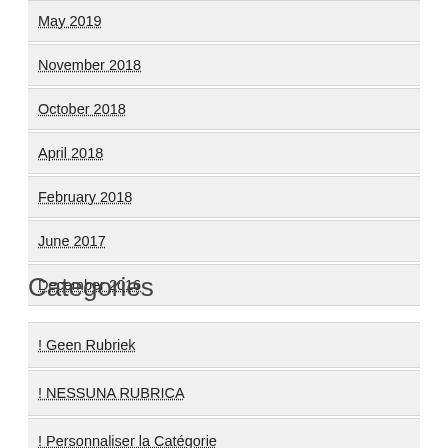May 2019
November 2018
October 2018
April 2018
February 2018
June 2017
December 2016
Categories
! Geen Rubriek
! NESSUNA RUBRICA
! Personnaliser la Catégorie